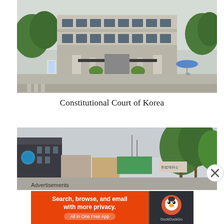[Figure (photo): Exterior photo of the Constitutional Court of Korea building with large gate, trees, and street in front]
Constitutional Court of Korea
[Figure (photo): Street-level photo showing buildings and trees near the Constitutional Court of Korea]
Advertisements
[Figure (screenshot): DuckDuckGo advertisement banner: Search, browse, and email with more privacy. All in One Free App. DuckDuckGo logo on dark right panel.]